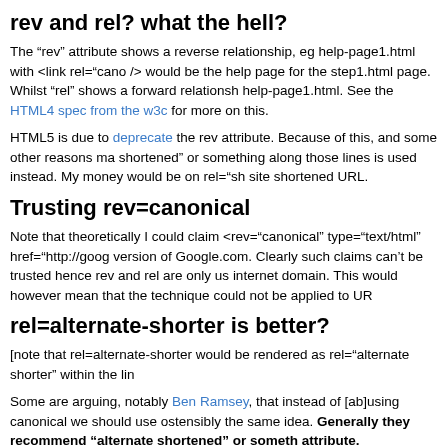rev and rel? what the hell?
The “rev” attribute shows a reverse relationship, eg help-page1.html with <link rel="cano /> would be the help page for the step1.html page. Whilst “rel” shows a forward relationsh help-page1.html. See the HTML4 spec from the w3c for more on this.
HTML5 is due to deprecate the rev attribute. Because of this, and some other reasons ma shortened” or something along those lines is used instead. My money would be on rel="sh site shortened URL.
Trusting rev=canonical
Note that theoretically I could claim <rev="canonical" type="text/html" href="http://goog version of Google.com. Clearly such claims can’t be trusted hence rev and rel are only us internet domain. This would however mean that the technique could not be applied to UR
rel=alternate-shorter is better?
[note that rel=alternate-shorter would be rendered as rel="alternate shorter" within the lin
Some are arguing, notably Ben Ramsey, that instead of [ab]using canonical we should use ostensibly the same idea. Generally they recommend “alternate shortened” or someth attribute. revcanonical.appspot.com checks for any link tag with an attribute value startin rel=short in which case but we’ll have to see if a standard emerges out of all the other pos
The “alternate” keyword as used in link-ing alternate stylesheets is intended to show that alternate form. Thus those who are strong supporters of semantics generally are preferring to show that the content is not just a short URL version but also the same content. The pr content but also the same format, strictly it’s not alternate! Wars start over such as this